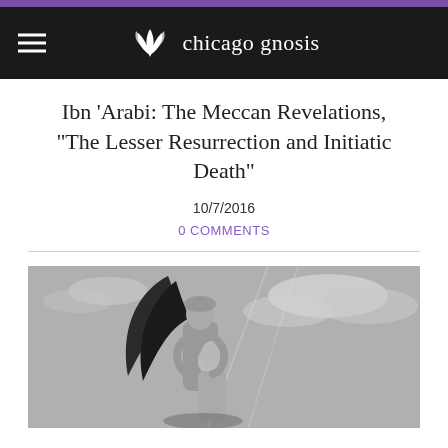chicago gnosis
Ibn 'Arabi: The Meccan Revelations, "The Lesser Resurrection and Initiatic Death"
10/7/2016
0 COMMENTS
[Figure (photo): Black and white photograph of an angel statue embracing a figure, with a cloudy sky background]